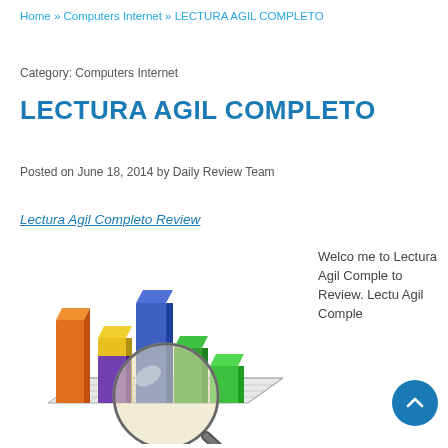Home » Computers Internet » LECTURA AGIL COMPLETO
Category: Computers Internet
LECTURA AGIL COMPLETO
Posted on June 18, 2014 by Daily Review Team
Lectura Agil Completo Review
[Figure (illustration): 3D bar chart with colorful bars (orange, yellow, blue, green, purple, green) on a grid surface with a magnifying glass overlaid on top]
Welcome to Lectura Agil Completo Review. Lectura Agil Comple